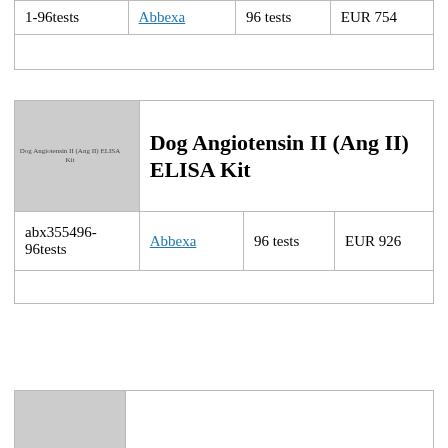|  |  |  |  |
| --- | --- | --- | --- |
| 1-96tests | Abbexa | 96 tests | EUR 754 |
|  |  |  |  |
[Figure (photo): Product image placeholder for Dog Angiotensin II (Ang II) ELISA Kit with small label text]
Dog Angiotensin II (Ang II) ELISA Kit
| abx355496-96tests | Abbexa | 96 tests | EUR 926 |
|  |  |  |  |
[Figure (photo): Partial product image placeholder at bottom of page]